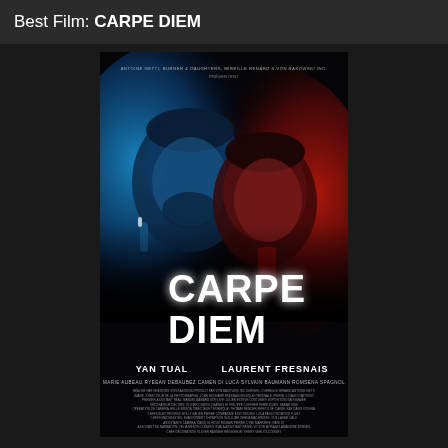Best Film: CARPE DIEM
[Figure (photo): Movie poster for 'Carpe Diem' directed by Grégoire Von Rakowski. Two men's faces shown — left side lit in blue/cyan, right side in red. Large white bold text reads 'CARPE DIEM'. Below: 'UN FILM DE GRÉGOIRE VON RAKOWSKI'. Stars listed: YAN TUAL, LAURENT FRESNAIS. Additional cast: MARIE AUBEAU, RYEEAN DEBAUBEZ, CAMEN DI LUCA, SYLVAIN BAUMANN, ROMSENA SPAGNOL. Multiple production credits in small text at bottom.]